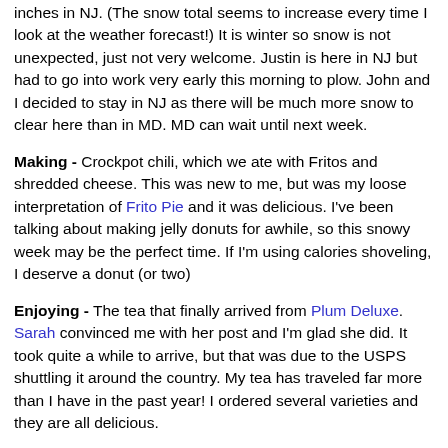inches in NJ. (The snow total seems to increase every time I look at the weather forecast!) It is winter so snow is not unexpected, just not very welcome. Justin is here in NJ but had to go into work very early this morning to plow. John and I decided to stay in NJ as there will be much more snow to clear here than in MD. MD can wait until next week.
Making - Crockpot chili, which we ate with Fritos and shredded cheese. This was new to me, but was my loose interpretation of Frito Pie and it was delicious. I've been talking about making jelly donuts for awhile, so this snowy week may be the perfect time. If I'm using calories shoveling, I deserve a donut (or two)
Enjoying - The tea that finally arrived from Plum Deluxe. Sarah convinced me with her post and I'm glad she did. It took quite a while to arrive, but that was due to the USPS shuttling it around the country. My tea has traveled far more than I have in the past year! I ordered several varieties and they are all delicious.
Considering - One Little Word that just popped into my head one day while I was meditating. I wasn't going to